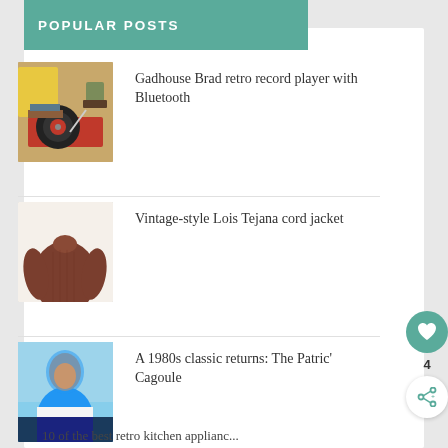POPULAR POSTS
[Figure (photo): Retro record player with vinyl record, yellow box, and plant in background]
Gadhouse Brad retro record player with Bluetooth
[Figure (photo): Brown vintage-style corduroy jacket, rear view]
Vintage-style Lois Tejana cord jacket
[Figure (photo): Man wearing a blue and white 1980s style cagoule jacket]
A 1980s classic returns: The Patric' Cagoule
10 of the best retro kitchen appliance...